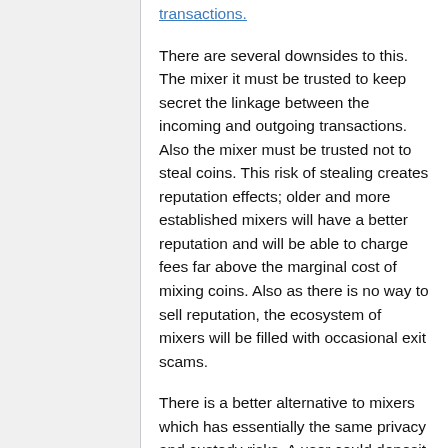transactions.
There are several downsides to this. The mixer it must be trusted to keep secret the linkage between the incoming and outgoing transactions. Also the mixer must be trusted not to steal coins. This risk of stealing creates reputation effects; older and more established mixers will have a better reputation and will be able to charge fees far above the marginal cost of mixing coins. Also as there is no way to sell reputation, the ecosystem of mixers will be filled with occasional exit scams.
There is a better alternative to mixers which has essentially the same privacy and custody risks. A user could deposit and then withdraw coins from any regular bitcoin website that has a hot wallet. As long as the bitcoin service